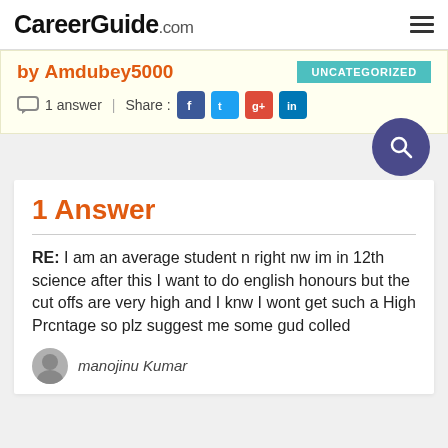CareerGuide.com
by Amdubey5000
UNCATEGORIZED
1 answer | Share :
1 Answer
RE: I am an average student n right nw im in 12th science after this I want to do english honours but the cut offs are very high and I knw I wont get such a High Prcntage so plz suggest me some gud colled
manojinu Kumar